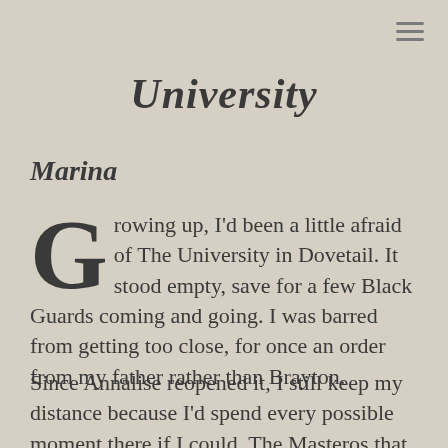≡
University
Marina
Growing up, I'd been a little afraid of The University in Dovetail. It stood empty, save for a few Black Guards coming and going. I was barred from getting too close, for once an order from my father rather than Brayton.
Since Annalise reopened it, I still keep my distance because I'd spend every possible moment there if I could. The Masteros that